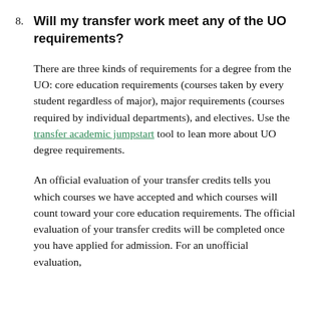8. Will my transfer work meet any of the UO requirements?
There are three kinds of requirements for a degree from the UO: core education requirements (courses taken by every student regardless of major), major requirements (courses required by individual departments), and electives. Use the transfer academic jumpstart tool to lean more about UO degree requirements.
An official evaluation of your transfer credits tells you which courses we have accepted and which courses will count toward your core education requirements. The official evaluation of your transfer credits will be completed once you have applied for admission. For an unofficial evaluation,